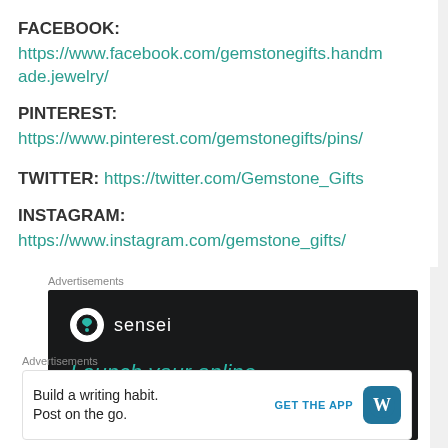FACEBOOK: https://www.facebook.com/gemstonegifts.handmade.jewelry/
PINTEREST: https://www.pinterest.com/gemstonegifts/pins/
TWITTER: https://twitter.com/Gemstone_Gifts
INSTAGRAM: https://www.instagram.com/gemstone_gifts/
Advertisements
[Figure (other): Dark advertisement banner for Sensei with logo and text 'Launch your online']
Advertisements
[Figure (other): Bottom advertisement: 'Build a writing habit. Post on the go.' with GET THE APP button and WordPress icon]